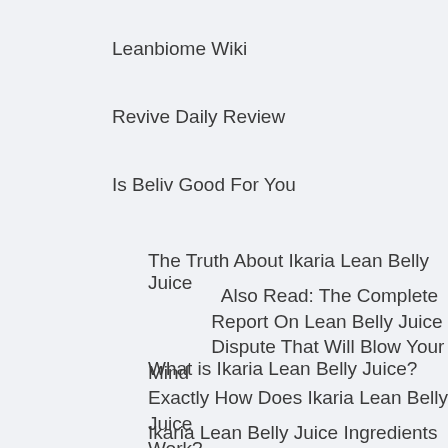Leanbiome Wiki
Revive Daily Review
Is Beliv Good For You
The Truth About Ikaria Lean Belly Juice
Also Read: The Complete Report On Lean Belly Juice Dispute That Will Blow Your Mind
What is Ikaria Lean Belly Juice?
Exactly How Does Ikaria Lean Belly Juice Work?
Ikaria Lean Belly Juice Ingredients
Also Read: The Total Record On